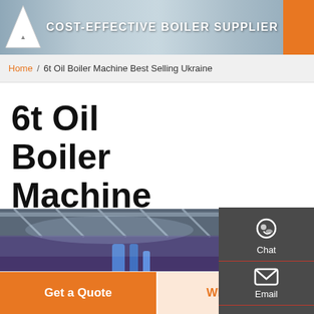COST-EFFECTIVE BOILER SUPPLIER
Home / 6t Oil Boiler Machine Best Selling Ukraine
6t Oil Boiler Machine Best Selling Ukraine
[Figure (photo): Interior of a boiler factory showing industrial equipment, pipes, and ceiling structure with blue and purple lighting]
Get a Quote
WhatsApp